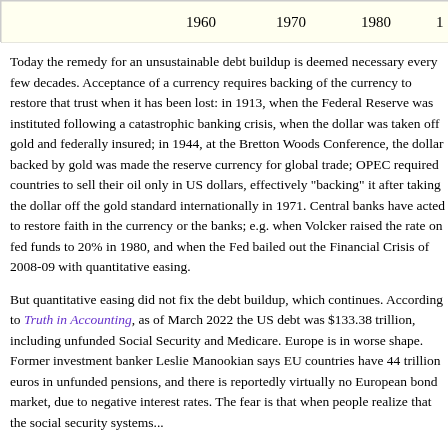[Figure (other): Top portion of a timeline/chart strip showing year labels 1960, 1970, 1980, and partial 1990s, with a light yellow background and border.]
Today the remedy for an unsustainable debt buildup is deemed necessary every few decades. Acceptance of a currency requires backing of the currency to restore that trust when it has been lost: in 1913, when the Federal Reserve was instituted following a catastrophic banking crisis, when the dollar was taken off gold and federally insured; in 1944, at the Bretton Woods Conference, the dollar backed by gold was made the reserve currency for global trade; OPEC required countries to sell their oil only in US dollars, effectively "backing" it after taking the dollar off the gold standard internationally in 1971. Central banks have acted to restore faith in the currency or the banks; e.g. when Volcker raised the rate on fed funds to 20% in 1980, and when the Fed bailed out the Financial Crisis of 2008-09 with quantitative easing.
But quantitative easing did not fix the debt buildup, which continues. According to Truth in Accounting, as of March 2022 the US debt was $133.38 trillion, including unfunded Social Security and Medicare. Europe is in worse shape. Former investment banker Leslie Manookian says EU countries have 44 trillion euros in unfunded pensions, and there is reportedly virtually no European bond market, due to negative interest rates. The fear is that when people realize that the social security systems...